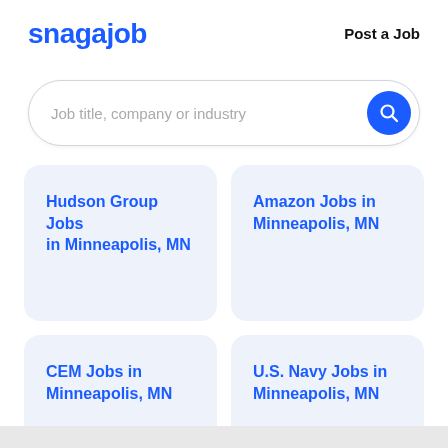snagajob
Post a Job
Job title, company or industry
Hudson Group Jobs in Minneapolis, MN
Amazon Jobs in Minneapolis, MN
CEM Jobs in Minneapolis, MN
U.S. Navy Jobs in Minneapolis, MN